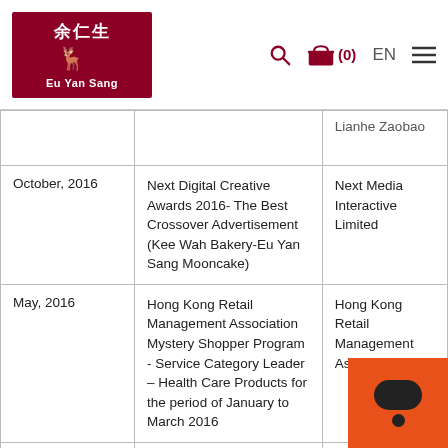Eu Yan Sang
| Date | Award | Awarded By |
| --- | --- | --- |
|  |  | Lianhe Zaobao |
| October, 2016 | Next Digital Creative Awards 2016- The Best Crossover Advertisement (Kee Wah Bakery-Eu Yan Sang Mooncake) | Next Media Interactive Limited |
| May, 2016 | Hong Kong Retail Management Association Mystery Shopper Program - Service Category Leader – Health Care Products for the period of January to March 2016 | Hong Kong Retail Management Association |
| February, 2016 | Singapore 1000 Awards 2016- Turnoever Growth | DP Information Group |